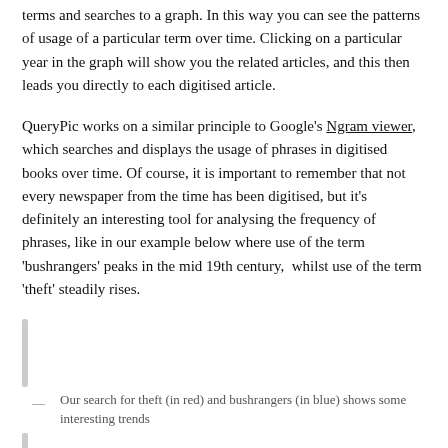terms and searches to a graph. In this way you can see the patterns of usage of a particular term over time. Clicking on a particular year in the graph will show you the related articles, and this then leads you directly to each digitised article.
QueryPic works on a similar principle to Google's Ngram viewer, which searches and displays the usage of phrases in digitised books over time. Of course, it is important to remember that not every newspaper from the time has been digitised, but it's definitely an interesting tool for analysing the frequency of phrases, like in our example below where use of the term 'bushrangers' peaks in the mid 19th century, whilst use of the term 'theft' steadily rises.
[Figure (other): A vertical bar/accent graphic element indicating an image or screenshot placeholder]
Our search for theft (in red) and bushrangers (in blue) shows some interesting trends
[Figure (other): A vertical bar/accent graphic element indicating an image or screenshot placeholder]
The final site is a brand new tool built by the One Week, One Tool team. This team of coders are aiming to build a new tool